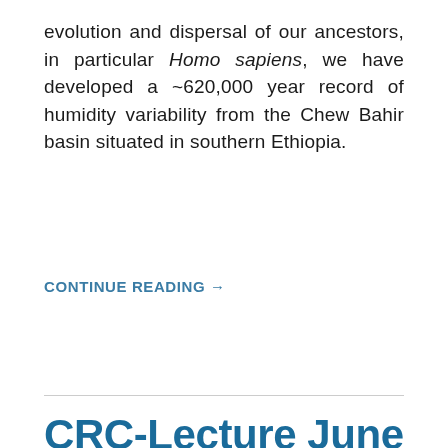evolution and dispersal of our ancestors, in particular Homo sapiens, we have developed a ~620,000 year record of humidity variability from the Chew Bahir basin situated in southern Ethiopia.
CONTINUE READING →
CRC-Lecture June 29: European Quaternary climate inferred from